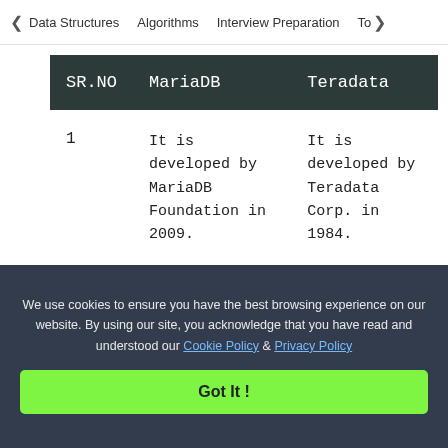< Data Structures   Algorithms   Interview Preparation   To>
| SR.NO | MariaDB | Teradata |
| --- | --- | --- |
| 1 | It is developed by MariaDB Foundation in 2009. | It is developed by Teradata Corp. in 1984. |
| 2 | MariaDB server operating systems are | Teradata server operating |
We use cookies to ensure you have the best browsing experience on our website. By using our site, you acknowledge that you have read and understood our Cookie Policy & Privacy Policy
Got It !